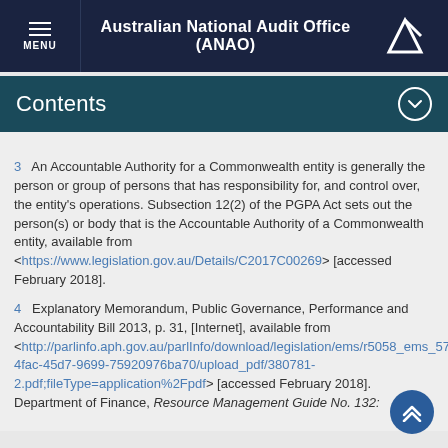Australian National Audit Office (ANAO)
Contents
3    An Accountable Authority for a Commonwealth entity is generally the person or group of persons that has responsibility for, and control over, the entity's operations. Subsection 12(2) of the PGPA Act sets out the person(s) or body that is the Accountable Authority of a Commonwealth entity, available from <https://www.legislation.gov.au/Details/C2017C00269> [accessed February 2018].
4    Explanatory Memorandum, Public Governance, Performance and Accountability Bill 2013, p. 31, [Internet], available from <http://parlinfo.aph.gov.au/parlInfo/download/legislation/ems/r5058_ems_5771fa39-4fac-45d7-9699-75920976ba70/upload_pdf/380781-2.pdf;fileType=application%2Fpdf> [accessed February 2018]. Department of Finance, Resource Management Guide No. 132: